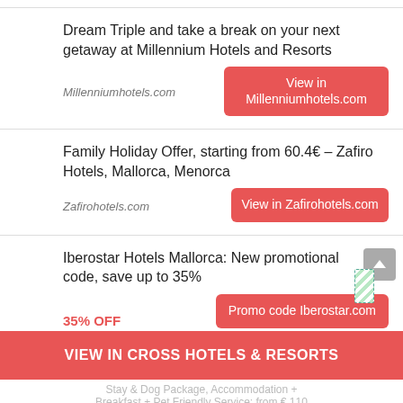Dream Triple and take a break on your next getaway at Millennium Hotels and Resorts
Millenniumhotels.com
View in Millenniumhotels.com
Family Holiday Offer, starting from 60.4€ – Zafiro Hotels, Mallorca, Menorca
Zafirohotels.com
View in Zafirohotels.com
Iberostar Hotels Mallorca: New promotional code, save up to 35%
35% OFF
Promo code Iberostar.com
Iberostar.com
VIEW IN CROSS HOTELS & RESORTS
Stay & Dog Package, Accommodation + Breakfast + Pet Friendly Service: from € 110